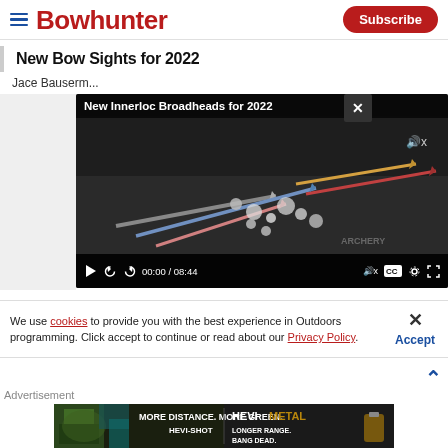Bowhunter — Subscribe
New Bow Sights for 2022
Jace Bauserm...
[Figure (screenshot): Video player showing 'New Innerloc Broadheads for 2022' with thumbnail of broadheads on dark background. Controls show 00:00 / 08:44 timestamp.]
We use cookies to provide you with the best experience in Outdoors programming. Click accept to continue or read about our Privacy Policy.
Advertisement
[Figure (photo): Hevi-Metal advertisement: 'MORE DISTANCE. MORE GREEN. HEVI-SHOT' with HEVI METAL branding and 'LONGER RANGE. BANG DEAD.' tagline, showing ammunition and outdoor hunting imagery.]